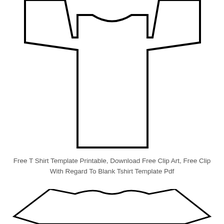[Figure (illustration): A blank t-shirt template outline (front view) shown from above the waist, with angular sleeves and neckline, black outline on white background.]
Free T Shirt Template Printable, Download Free Clip Art, Free Clip With Regard To Blank Tshirt Template Pdf
[Figure (illustration): A partial blank t-shirt template outline (bottom/hem view) showing the lower portion of a t-shirt with angular sides and curved neckline, black outline on white background.]